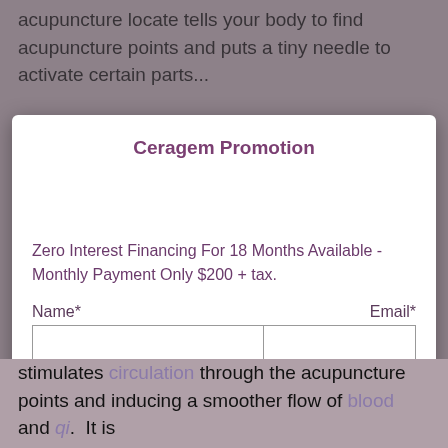acupuncture points and puts a tiny needle to activate certain parts...
Ceragem Promotion
Zero Interest Financing For 18 Months Available - Monthly Payment Only $200 + tax.
Name*    Email*
stimulates circulation through the acupuncture points and inducing a smoother flow of blood and qi.  It is